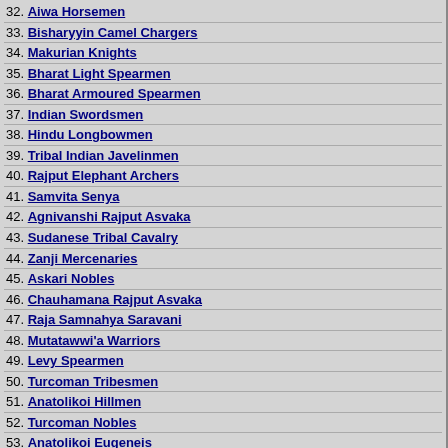32. Aiwa Horsemen
33. Bisharyyin Camel Chargers
34. Makurian Knights
35. Bharat Light Spearmen
36. Bharat Armoured Spearmen
37. Indian Swordsmen
38. Hindu Longbowmen
39. Tribal Indian Javelinmen
40. Rajput Elephant Archers
41. Samvita Senya
42. Agnivanshi Rajput Asvaka
43. Sudanese Tribal Cavalry
44. Zanji Mercenaries
45. Askari Nobles
46. Chauhamana Rajput Asvaka
47. Raja Samnahya Saravani
48. Mutatawwi'a Warriors
49. Levy Spearmen
50. Turcoman Tribesmen
51. Anatolikoi Hillmen
52. Turcoman Nobles
53. Anatolikoi Eugeneis
663 貫力 45
totalwar.honga.net
[Figure (other): Navy bar header strip]
[Figure (other): Navy bar header strip]
[Figure (other): Grid of 4 faction shield emblems: red cross on white, dark cross on teal, yellow cross on blue, teal solid]
[Figure (other): Grid of 4 elephant unit images]
[Figure (other): Grid of 4 colored shield emblems: yellow-green swirl, red with orange flower, dark green, dark red]
[Figure (other): Grid of 4 elephant unit images]
[Figure (other): Navy bar separator]
| No. | 유닛 | 건물 |
| --- | --- | --- |
| 1 | [building image] | Baron's Stables |